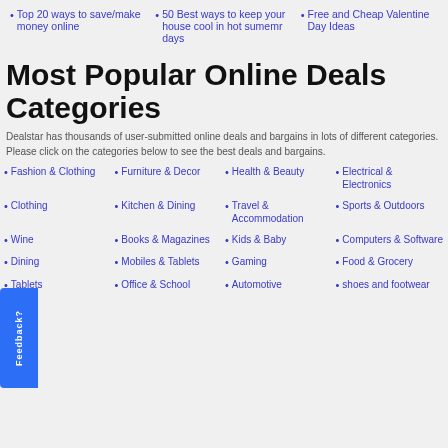Top 20 ways to save/make money online
50 Best ways to keep your house cool in hot sumemr days
Free and Cheap Valentine Day Ideas
Most Popular Online Deals Categories
Dealstar has thousands of user-submitted online deals and bargains in lots of different categories. Please click on the categories below to see the best deals and bargains.
Fashion & Clothing
Furniture & Decor
Health & Beauty
Electrical & Electronics
Clothing
Kitchen & Dining
Travel & Accommodation
Sports & Outdoors
Wine
Books & Magazines
Kids & Baby
Computers & Software
Dining
Mobiles & Tablets
Gaming
Food & Grocery
Tablets
Office & School
Automotive
shoes and footwear